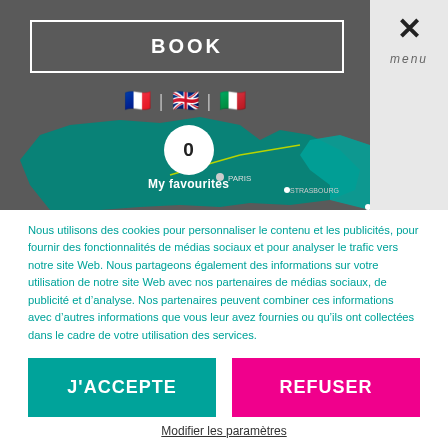[Figure (screenshot): Website header with dark gray background showing BOOK button, language flags (French, English, Italian), a map of France in teal, heart icon with 0 and My favourites label, PARIS and STRASBOURG labels]
Nous utilisons des cookies pour personnaliser le contenu et les publicités, pour fournir des fonctionnalités de médias sociaux et pour analyser le trafic vers notre site Web. Nous partageons également des informations sur votre utilisation de notre site Web avec nos partenaires de médias sociaux, de publicité et d'analyse. Nos partenaires peuvent combiner ces informations avec d'autres informations que vous leur avez fournies ou qu'ils ont collectées dans le cadre de votre utilisation des services.
J'ACCEPTE
REFUSER
Modifier les paramètres